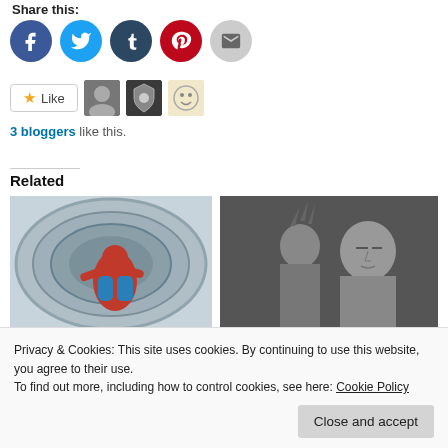Share this:
[Figure (other): Social share buttons: Facebook (blue circle), Twitter (light blue circle), Tumblr (dark blue circle), Pinterest (red circle), Email (grey circle)]
[Figure (other): Like button with star icon and three blogger avatar thumbnails]
3 bloggers like this.
Related
[Figure (photo): Spider-Man sitting inside a large cylindrical pipe, wearing red and blue suit]
[Figure (photo): Black and white photo of a woman and a man, close-up portrait — The Girl With The Dragon Tattoo style]
[Spider-man homecoming...
The Girl With The D...
Privacy & Cookies: This site uses cookies. By continuing to use this website, you agree to their use.
To find out more, including how to control cookies, see here: Cookie Policy
Close and accept